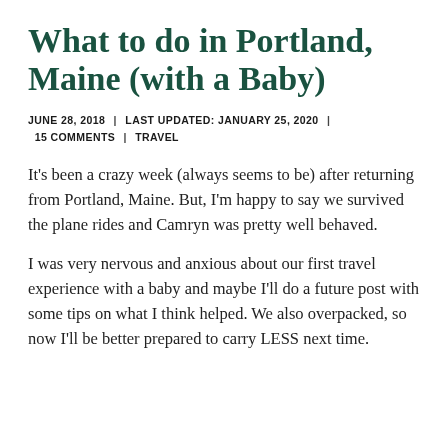What to do in Portland, Maine (with a Baby)
JUNE 28, 2018  |  LAST UPDATED: JANUARY 25, 2020  |  15 COMMENTS  |  TRAVEL
It’s been a crazy week (always seems to be) after returning from Portland, Maine. But, I’m happy to say we survived the plane rides and Camryn was pretty well behaved.
I was very nervous and anxious about our first travel experience with a baby and maybe I’ll do a future post with some tips on what I think helped. We also overpacked, so now I’ll be better prepared to carry LESS next time.